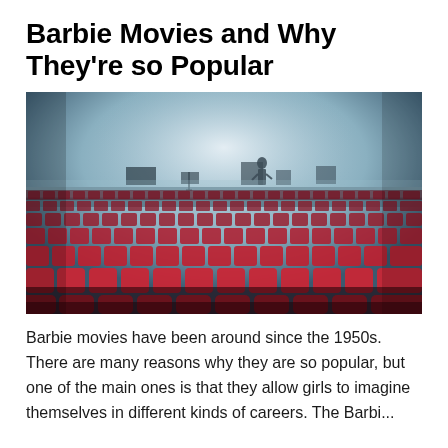Barbie Movies and Why They're so Popular
[Figure (photo): Interior of a cinema theater with rows of empty red velvet seats viewed from the back, a misty/foggy stage visible in the distance with a lone figure standing on it under dim lighting.]
Barbie movies have been around since the 1950s. There are many reasons why they are so popular, but one of the main ones is that they allow girls to imagine themselves in different kinds of careers. The Barbi...